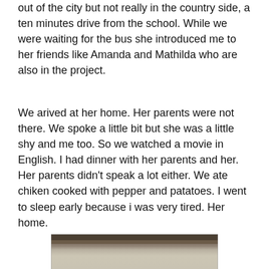out of the city but not really in the country side, a ten minutes drive from the school. While we were waiting for the bus she introduced me to her friends like Amanda and Mathilda who are also in the project.
We arived at her home. Her parents were not there. We spoke a little bit but she was a little shy and me too. So we watched a movie in English. I had dinner with her parents and her. Her parents didn't speak a lot either. We ate chiken cooked with pepper and patatoes. I went to sleep early because i was very tired. Her home.
[Figure (photo): A photograph showing what appears to be a flat sandy or beige surface with a dark wooden or stone ledge/bar at the top of the image.]